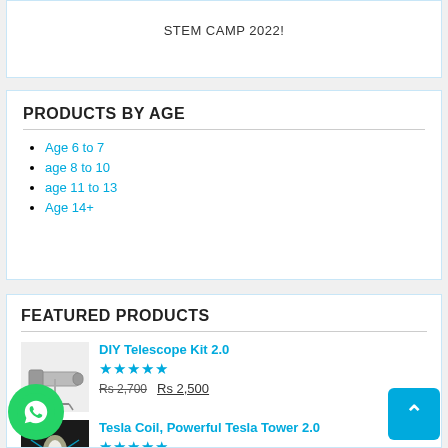STEM CAMP 2022!
PRODUCTS BY AGE
Age 6 to 7
age 8 to 10
age 11 to 13
Age 14+
FEATURED PRODUCTS
DIY Telescope Kit 2.0
★★★★★
Rs 2,700  Rs 2,500
Tesla Coil, Powerful Tesla Tower 2.0
★★★★★
Rs 3,900